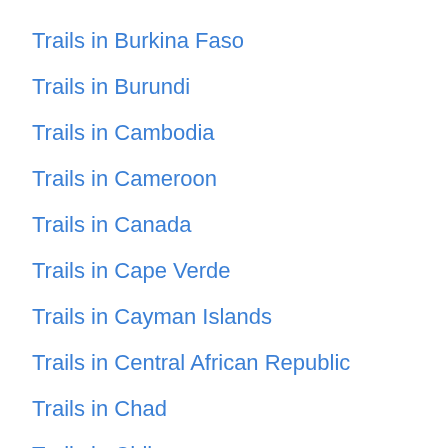Trails in Burkina Faso
Trails in Burundi
Trails in Cambodia
Trails in Cameroon
Trails in Canada
Trails in Cape Verde
Trails in Cayman Islands
Trails in Central African Republic
Trails in Chad
Trails in Chile
Trails in China
Trails in Colombia
Trails in Comoros